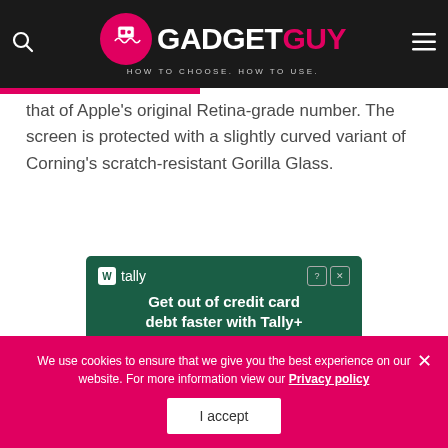GADGETGUY — HOW TO CHOOSE. HOW TO USE.
that of Apple's original Retina-grade number. The screen is protected with a slightly curved variant of Corning's scratch-resistant Gorilla Glass.
[Figure (screenshot): Tally advertisement banner: 'Get out of credit card debt faster with Tally+']
We use cookies to ensure that we give you the best experience on our website. For more information view our Privacy policy
I accept